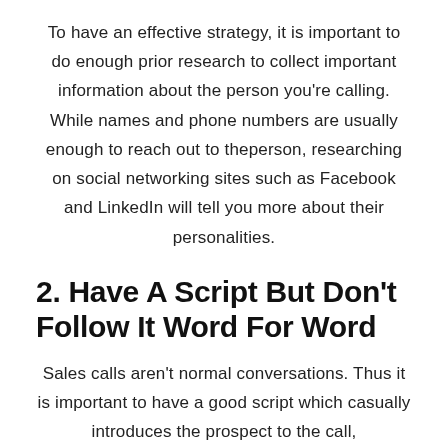To have an effective strategy, it is important to do enough prior research to collect important information about the person you're calling. While names and phone numbers are usually enough to reach out to theperson, researching on social networking sites such as Facebook and LinkedIn will tell you more about their personalities.
2. Have A Script But Don't Follow It Word For Word
Sales calls aren't normal conversations. Thus it is important to have a good script which casually introduces the prospect to the call,